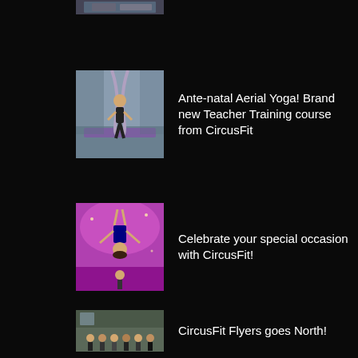[Figure (photo): Partial thumbnail of previous article at top of page]
[Figure (photo): Person doing aerial yoga while pregnant, hanging in fabric hammock in a studio]
Ante-natal Aerial Yoga! Brand new Teacher Training course from CircusFit
[Figure (photo): Performer doing aerial acrobatics with pink lighting in a studio]
Celebrate your special occasion with CircusFit!
[Figure (photo): Group of people in a gymnasium or aerial fitness studio]
CircusFit Flyers goes North!